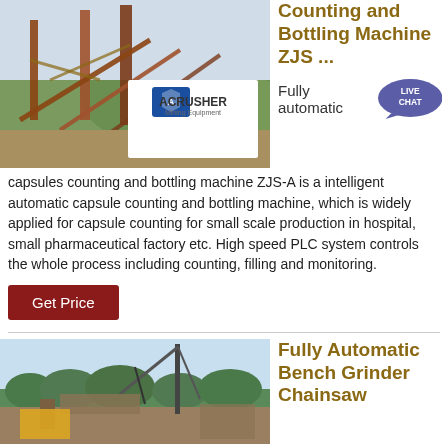[Figure (photo): Mining/quarry equipment facility with conveyor structures and ACRUSHER Mining Equipment logo overlay]
Counting and Bottling Machine ZJS ...
Fully automatic capsules counting and bottling machine ZJS-A is a intelligent automatic capsule counting and bottling machine, which is widely applied for capsule counting for small scale production in hospital, small pharmaceutical factory etc. High speed PLC system controls the whole process including counting, filling and monitoring.
Get Price
[Figure (photo): Construction/industrial site with crane equipment and green treeline in background]
Fully Automatic Bench Grinder Chainsaw